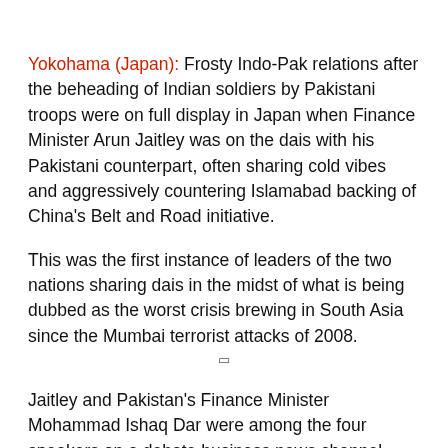Yokohama (Japan): Frosty Indo-Pak relations after the beheading of Indian soldiers by Pakistani troops were on full display in Japan when Finance Minister Arun Jaitley was on the dais with his Pakistani counterpart, often sharing cold vibes and aggressively countering Islamabad backing of China's Belt and Road initiative.
This was the first instance of leaders of the two nations sharing dais in the midst of what is being dubbed as the worst crisis brewing in South Asia since the Mumbai terrorist attacks of 2008.
Jaitley and Pakistan's Finance Minister Mohammad Ishaq Dar were among the four speakers on a debate business news channel CNBC organised on 'Asia's Economic Outlook: Talking Tackle...